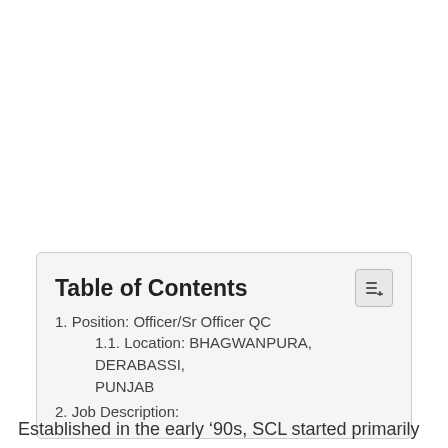1. Position: Officer/Sr Officer QC
1.1. Location: BHAGWANPURA, DERABASSI, PUNJAB
2. Job Description:
Established in the early ‘90s, SCL started primarily